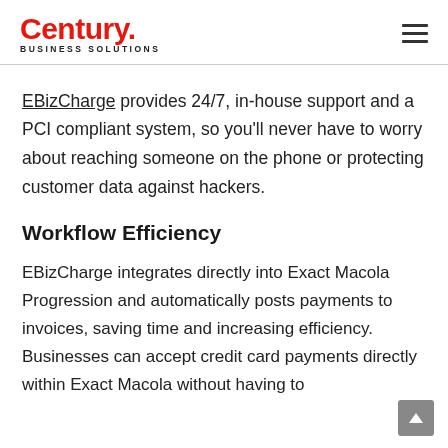Century Business Solutions
EBizCharge provides 24/7, in-house support and a PCI compliant system, so you'll never have to worry about reaching someone on the phone or protecting customer data against hackers.
Workflow Efficiency
EBizCharge integrates directly into Exact Macola Progression and automatically posts payments to invoices, saving time and increasing efficiency. Businesses can accept credit card payments directly within Exact Macola without having to